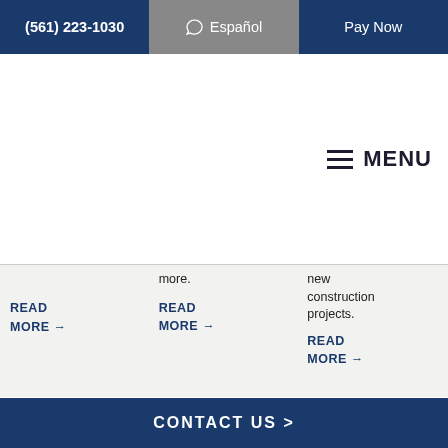(561) 223-1030 | Español | Pay Now
[Figure (screenshot): Website navigation header with logo area and hamburger menu button labeled MENU]
more.
new construction projects.
READ MORE →
READ MORE →
READ MORE →
CONTACT US >